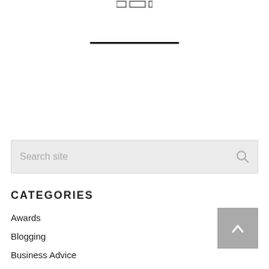[Figure (infographic): Navigation icons: small rectangle, wide rectangle, small rectangle at top of page with a horizontal rule below]
[Figure (infographic): Search site input box with magnifying glass icon on right, light gray background]
CATEGORIES
Awards
Blogging
Business Advice
Case Studies
[Figure (infographic): Gray scroll-to-top button with upward-pointing chevron arrow]